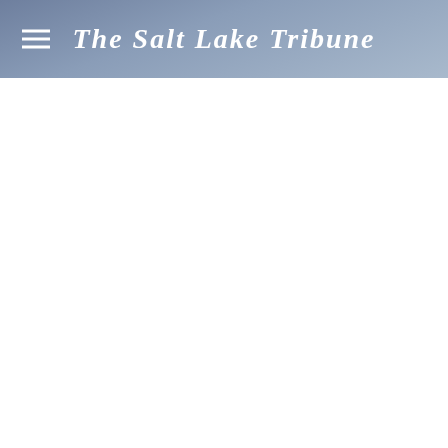The Salt Lake Tribune
[Figure (illustration): Teal/green funnel/filter icon, small, centered in white space area]
The unique fossil was discovered by Celina and Marina Suarez, twin sisters from Temple University who were investigating the site with Kirkland and the Utah Geological Survey while working on their master's